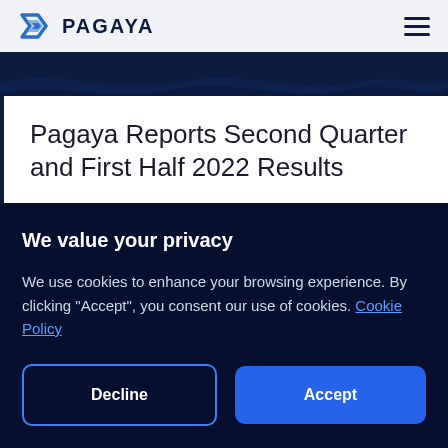PAGAYA
[Figure (illustration): Dark navy wave pattern banner]
Pagaya Reports Second Quarter and First Half 2022 Results
We value your privacy
We use cookies to enhance your browsing experience. By clicking "Accept", you consent our use of cookies. Cookie Policy
Decline | Accept